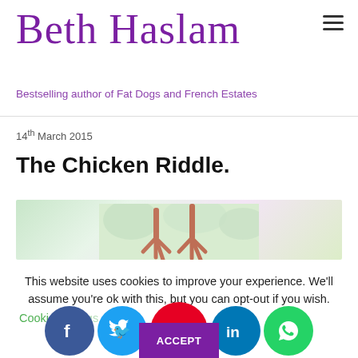Beth Haslam
Bestselling author of Fat Dogs and French Estates
14th March 2015
The Chicken Riddle.
[Figure (photo): Partial image of a chicken showing pink/red feet and feathers against a blurred outdoor background]
This website uses cookies to improve your experience. We'll assume you're ok with this, but you can opt-out if you wish.
Cookie settings
[Figure (infographic): Social media sharing icons: Facebook, Twitter, Pinterest, LinkedIn, WhatsApp]